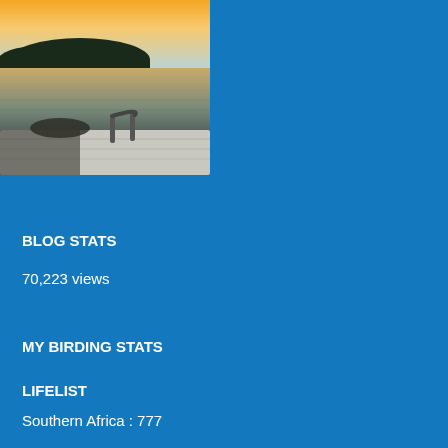[Figure (photo): Sunset or sunrise over a calm river or lake, viewed from a boat. A boat railing is visible in the foreground, silhouetted trees in the background, and a golden sky above reflecting on the water.]
BLOG STATS
70,223 views
MY BIRDING STATS
LIFELIST
Southern Africa : 777